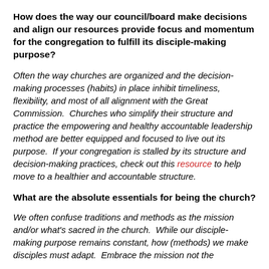How does the way our council/board make decisions and align our resources provide focus and momentum for the congregation to fulfill its disciple-making purpose?
Often the way churches are organized and the decision-making processes (habits) in place inhibit timeliness, flexibility, and most of all alignment with the Great Commission.  Churches who simplify their structure and practice the empowering and healthy accountable leadership method are better equipped and focused to live out its purpose.  If your congregation is stalled by its structure and decision-making practices, check out this resource to help move to a healthier and accountable structure.
What are the absolute essentials for being the church?
We often confuse traditions and methods as the mission and/or what's sacred in the church.  While our disciple-making purpose remains constant, how (methods) we make disciples must adapt.  Embrace the mission not the